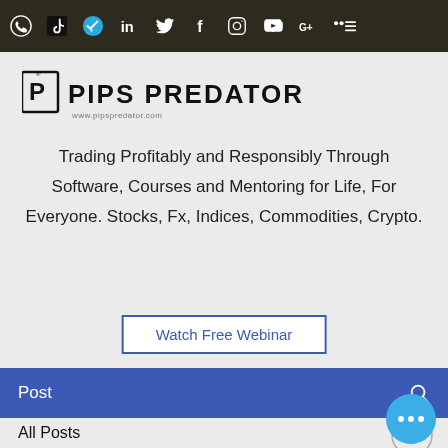[Figure (screenshot): Social media icon bar at top with WhatsApp, TikTok, Telegram, LinkedIn, Twitter, Facebook, Instagram, YouTube, Google+, and menu icons on dark olive background]
[Figure (logo): Pips Predator logo with P icon and bold uppercase text PIPS PREDATOR, website www.pipspredator.com below]
Trading Profitably and Responsibly Through Software, Courses and Mentoring for Life, For Everyone. Stocks, Fx, Indices, Commodities, Crypto.
Watch Free Webinar
Post
All Posts
Alpesh Patel Jan 24, 2021 · 5 min